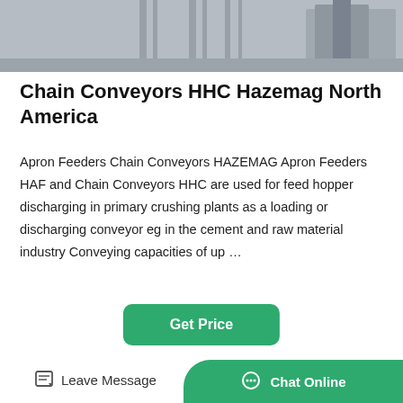[Figure (photo): Industrial equipment photo showing vertical support structures or machine frames in a warehouse/factory setting, grayscale]
Chain Conveyors HHC Hazemag North America
Apron Feeders Chain Conveyors HAZEMAG Apron Feeders HAF and Chain Conveyors HHC are used for feed hopper discharging in primary crushing plants as a loading or discharging conveyor eg in the cement and raw material industry Conveying capacities of up …
[Figure (other): Get Price button — green rounded rectangle with white bold text]
[Figure (photo): Outdoor photo of industrial chain conveyor equipment on a hillside with green vegetation and rock face, yellow machinery visible on right]
Leave Message  Chat Online